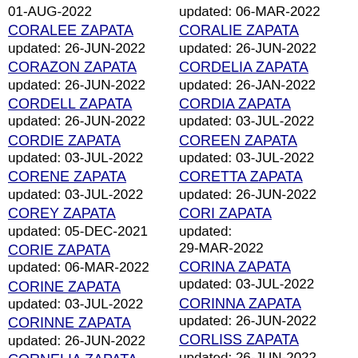01-AUG-2022
CORALEE ZAPATA
updated: 26-JUN-2022
CORAZON ZAPATA
updated: 26-JUN-2022
CORDELL ZAPATA
updated: 26-JUN-2022
CORDIE ZAPATA
updated: 03-JUL-2022
CORENE ZAPATA
updated: 03-JUL-2022
COREY ZAPATA
updated: 05-DEC-2021
CORIE ZAPATA
updated: 06-MAR-2022
CORINE ZAPATA
updated: 03-JUL-2022
CORINNE ZAPATA
updated: 26-JUN-2022
updated: 06-MAR-2022
CORALIE ZAPATA
updated: 26-JUN-2022
CORDELIA ZAPATA
updated: 26-JAN-2022
CORDIA ZAPATA
updated: 03-JUL-2022
COREEN ZAPATA
updated: 03-JUL-2022
CORETTA ZAPATA
updated: 26-JUN-2022
CORI ZAPATA updated: 29-MAR-2022
CORINA ZAPATA
updated: 03-JUL-2022
CORINNA ZAPATA
updated: 26-JUN-2022
CORLISS ZAPATA
updated: 26-JUN-2022